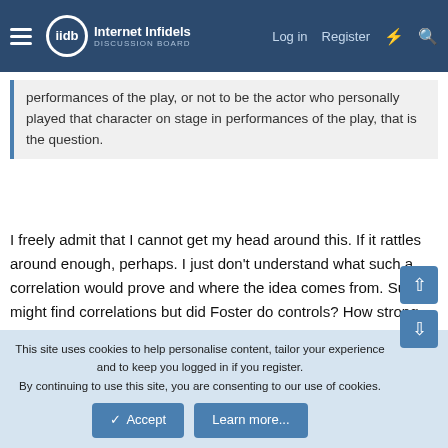Internet Infidels — Log in | Register
performances of the play, or not to be the actor who personally played that character on stage in performances of the play, that is the question.
I freely admit that I cannot get my head around this. If it rattles around enough, perhaps. I just don't understand what such a correlation would prove and where the idea comes from. Sure, I might find correlations but did Foster do controls? How strong was that correlation compared to other correlations? Was it a statistically significant correlation compared to those other correlations? All those questions and more, which is Swammi's point entirely.
I am vaguely familiar with statistics, control charts, scatter
This site uses cookies to help personalise content, tailor your experience and to keep you logged in if you register.
By continuing to use this site, you are consenting to our use of cookies.